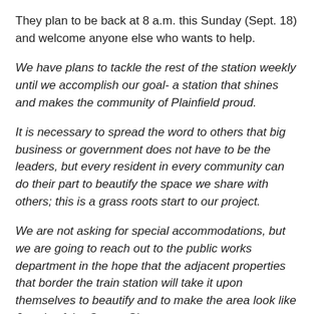They plan to be back at 8 a.m. this Sunday (Sept. 18) and welcome anyone else who wants to help.
We have plans to tackle the rest of the station weekly until we accomplish our goal- a station that shines and makes the community of Plainfield proud.
It is necessary to spread the word to others that big business or government does not have to be the leaders, but every resident in every community can do their part to beautify the space we share with others; this is a grass roots start to our project.
We are not asking for special accommodations, but we are going to reach out to the public works department in the hope that the adjacent properties that border the train station will take it upon themselves to beautify and to make the area look like Jewels of the Queen City.
For those who want to see change, come and meet us.  We will be at